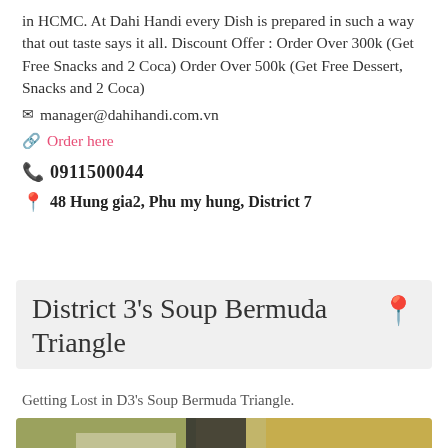in HCMC. At Dahi Handi every Dish is prepared in such a way that out taste says it all. Discount Offer : Order Over 300k (Get Free Snacks and 2 Coca) Order Over 500k (Get Free Dessert, Snacks and 2 Coca)
✉ manager@dahihandi.com.vn
🔗 Order here
📞 0911500044
📍 48 Hung gia2, Phu my hung, District 7
District 3's Soup Bermuda Triangle
Getting Lost in D3's Soup Bermuda Triangle.
[Figure (photo): Top-down view of Vietnamese soup bowls with chopsticks, green vegetables, lime wedge, and a glass of iced drink on a table]